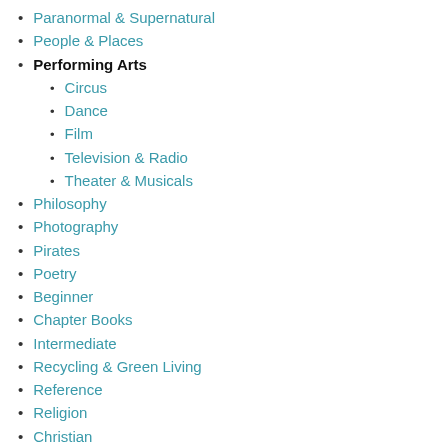Paranormal & Supernatural
People & Places
Performing Arts
Circus
Dance
Film
Television & Radio
Theater & Musicals
Philosophy
Photography
Pirates
Poetry
Beginner
Chapter Books
Intermediate
Recycling & Green Living
Reference
Religion
Christian
School & Education